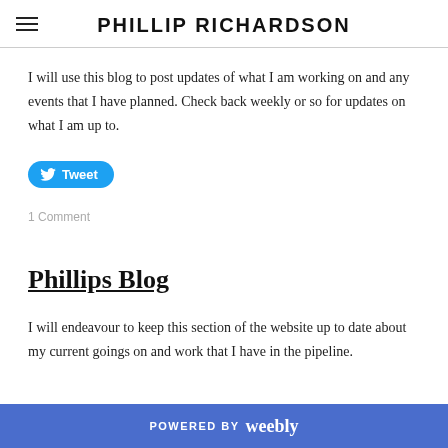PHILLIP RICHARDSON
I will use this blog to post updates of what I am working on and any events that I have planned. Check back weekly or so for updates on what I am up to.
[Figure (other): Tweet button - blue rounded button with Twitter bird icon and text 'Tweet']
1 Comment
Phillips Blog
I will endeavour to keep this section of the website up to date about my current goings on and work that I have in the pipeline.
POWERED BY weebly